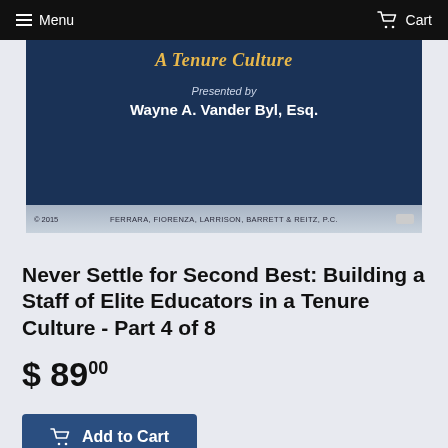Menu   Cart
[Figure (screenshot): Book/webinar cover slide with dark navy background showing 'A Tenure Culture' in gold italic text, 'Presented by' in light blue, 'Wayne A. Vander Byl, Esq.' in white bold, and a footer bar with '© 2015  FERRARA, FIORENZA, LARRISON, BARRETT & REITZ, P.C.']
Never Settle for Second Best: Building a Staff of Elite Educators in a Tenure Culture - Part 4 of 8
$ 89.00
Add to Cart